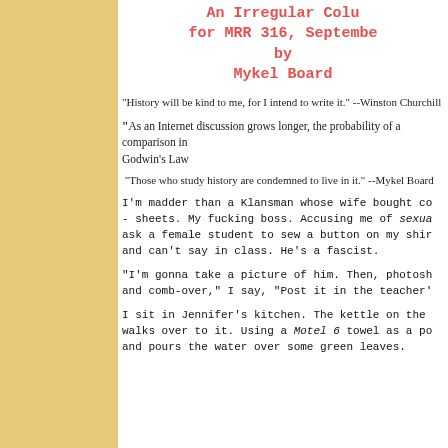An Irregular Column for MRR 316, September by Mykel Board
"History will be kind to me, for I intend to write it." --Winston Churchill
“As an Internet discussion grows longer, the probability of a comparison in… Godwin’s Law
“Those who study history are condemned to live in it.” --Mykel Board
I'm madder than a Klansman whose wife bought co- - sheets. My fucking boss. Accusing me of sexua… ask a female student to sew a button on my shi… and can't say in class. He's a fascist.
“I’m gonna take a picture of him. Then, photosh… and comb-over,” I say, “Post it in the teacher’…
I sit in Jennifer’s kitchen. The kettle on the… walks over to it. Using a Motel 6 towel as a po… and pours the water over some green leaves.